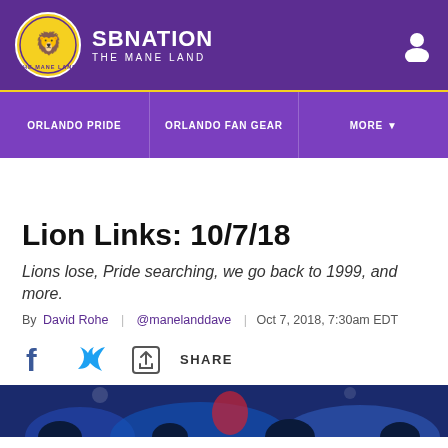SBNATION THE MANE LAND
ORLANDO PRIDE | ORLANDO FAN GEAR | MORE
Lion Links: 10/7/18
Lions lose, Pride searching, we go back to 1999, and more.
By David Rohe | @manelanddave | Oct 7, 2018, 7:30am EDT
[Figure (infographic): Social share icons: Facebook, Twitter, and generic share button with SHARE label]
[Figure (photo): Bottom strip showing partial sports photo with crowd and player silhouettes]